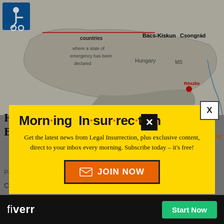[Figure (map): Map showing Hungary with Bács-Kiskun, Csongrád counties and Röszke location marked with red dot. Red line connecting labels. Accessibility icon in top left corner.]
Hungary to Build Second Border Fence
Posted
Comment
[Figure (infographic): Yellow popup modal for Morning Insurrection newsletter subscription. Title reads 'Morn·ing In·sur·rec·tion' with orange dots as dividers. Body text: 'Get the latest news from Legal Insurrection, plus exclusive content, direct to your inbox every morning. Subscribe today – it's free!' Orange JOIN NOW button with envelope icon. X close button in top right.]
[Figure (infographic): Fiverr advertisement bar at bottom. Black background with white 'fiverr' logo and green 'Start Now' button.]